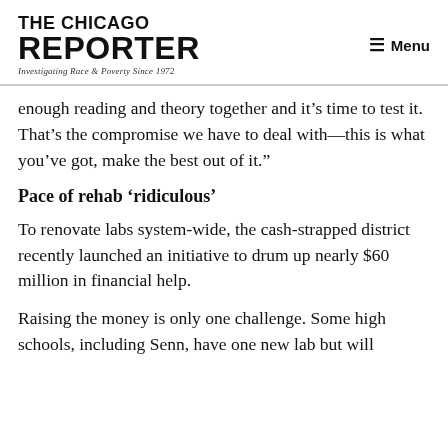THE CHICAGO REPORTER — Investigating Race & Poverty Since 1972 — Menu
enough reading and theory together and it’s time to test it. That’s the compromise we have to deal with—this is what you’ve got, make the best out of it.”
Pace of rehab ‘ridiculous’
To renovate labs system-wide, the cash-strapped district recently launched an initiative to drum up nearly $60 million in financial help.
Raising the money is only one challenge. Some high schools, including Senn, have one new lab but will